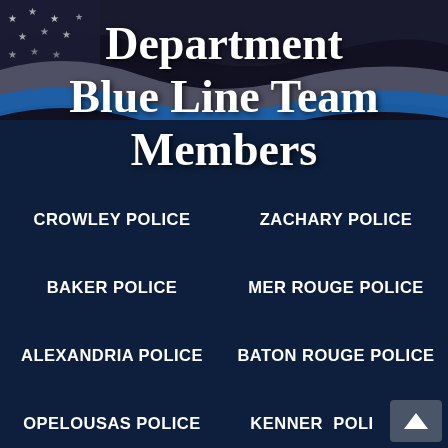[Figure (illustration): Thin Blue Line flag banner background with stars and wavy flag design in black, gray, and blue]
Department Blue Line Team Members
CROWLEY POLICE
ZACHARY POLICE
BAKER POLICE
MER ROUGE POLICE
ALEXANDRIA POLICE
BATON ROUGE POLICE
OPELOUSAS POLICE
KENNER  POLI